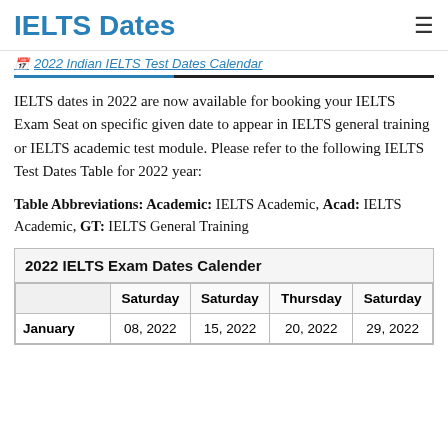IELTS Dates
2022 Indian IELTS Test Dates Calendar
IELTS dates in 2022 are now available for booking your IELTS Exam Seat on specific given date to appear in IELTS general training or IELTS academic test module. Please refer to the following IELTS Test Dates Table for 2022 year:
Table Abbreviations: Academic: IELTS Academic, Acad: IELTS Academic, GT: IELTS General Training
|  | Saturday | Saturday | Thursday | Saturday |
| --- | --- | --- | --- | --- |
| January | 08, 2022 | 15, 2022 | 20, 2022 | 29, 2022 |